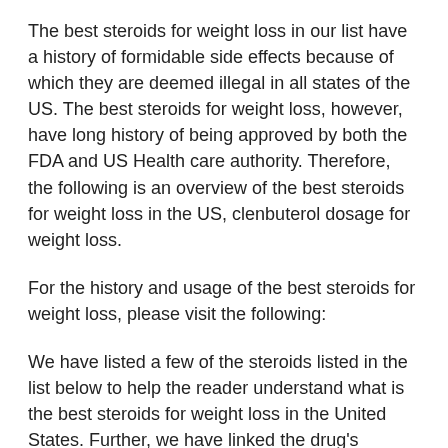The best steroids for weight loss in our list have a history of formidable side effects because of which they are deemed illegal in all states of the US. The best steroids for weight loss, however, have long history of being approved by both the FDA and US Health care authority. Therefore, the following is an overview of the best steroids for weight loss in the US, clenbuterol dosage for weight loss.
For the history and usage of the best steroids for weight loss, please visit the following:
We have listed a few of the steroids listed in the list below to help the reader understand what is the best steroids for weight loss in the United States. Further, we have linked the drug's manufacturers